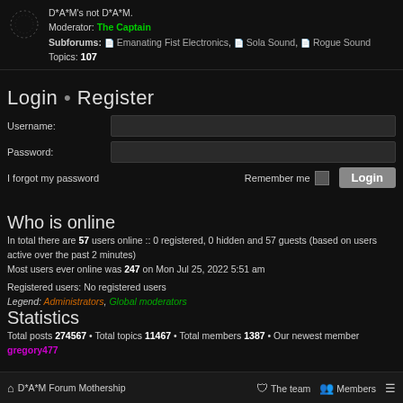D*A*M's not D*A*M. Moderator: The Captain Subforums: Emanating Fist Electronics, Sola Sound, Rogue Sound Topics: 107
Login • Register
Username:
Password:
I forgot my password   Remember me  [checkbox]  Login
Who is online
In total there are 57 users online :: 0 registered, 0 hidden and 57 guests (based on users active over the past 2 minutes)
Most users ever online was 247 on Mon Jul 25, 2022 5:51 am
Registered users: No registered users
Legend: Administrators, Global moderators
Statistics
Total posts 274567 • Total topics 11467 • Total members 1387 • Our newest member gregory477
D*A*M Forum Mothership   The team   Members